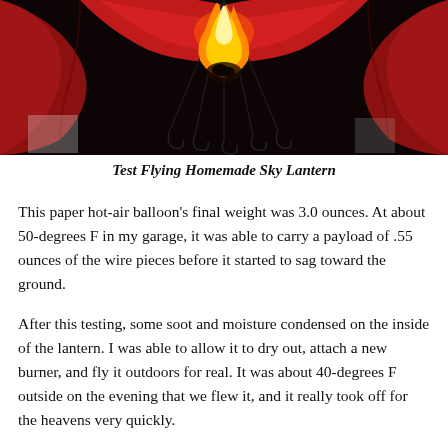[Figure (photo): Close-up photo of a red sky lantern from below, with an open flame burning at the center top, dark background, red fabric visible around the edges]
Test Flying Homemade Sky Lantern
This paper hot-air balloon's final weight was 3.0 ounces. At about 50-degrees F in my garage, it was able to carry a payload of .55 ounces of the wire pieces before it started to sag toward the ground.
After this testing, some soot and moisture condensed on the inside of the lantern. I was able to allow it to dry out, attach a new burner, and fly it outdoors for real. It was about 40-degrees F outside on the evening that we flew it, and it really took off for the heavens very quickly.